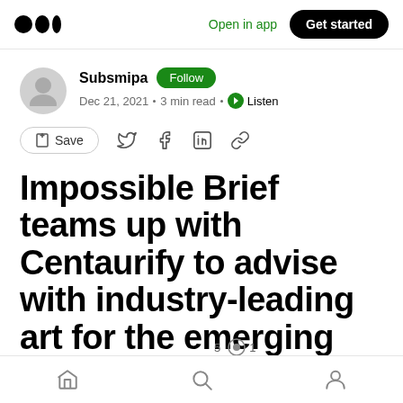Open in app  Get started
Subsmipa  Follow
Dec 21, 2021 · 3 min read · Listen
Save
Impossible Brief teams up with Centaurify to advise with industry-leading art for the emerging NFT Ticketing